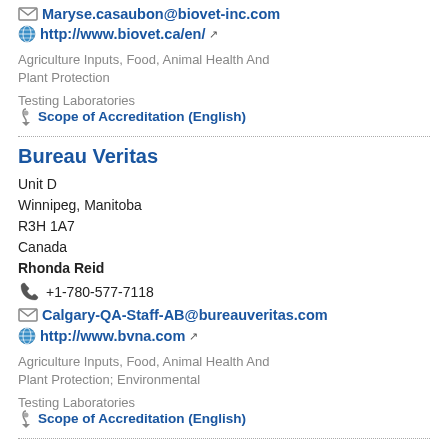Maryse.casaubon@biovet-inc.com
http://www.biovet.ca/en/
Agriculture Inputs, Food, Animal Health And Plant Protection
Testing Laboratories
Scope of Accreditation (English)
Bureau Veritas
Unit D
Winnipeg, Manitoba
R3H 1A7
Canada
Rhonda Reid
+1-780-577-7118
Calgary-QA-Staff-AB@bureauveritas.com
http://www.bvna.com
Agriculture Inputs, Food, Animal Health And Plant Protection; Environmental
Testing Laboratories
Scope of Accreditation (English)
Bureau Veritas
889 Montée de Liesse
Saint-Laurent, Quebec
H4T 1P5